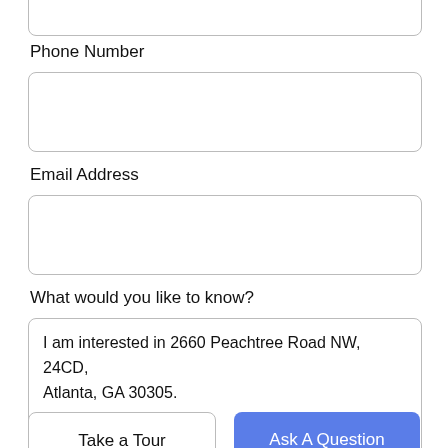Phone Number
[Figure (other): Empty input box for Phone Number]
Email Address
[Figure (other): Empty input box for Email Address]
What would you like to know?
[Figure (other): Textarea with text: I am interested in 2660 Peachtree Road NW, 24CD, Atlanta, GA 30305.]
Take a Tour
Ask A Question